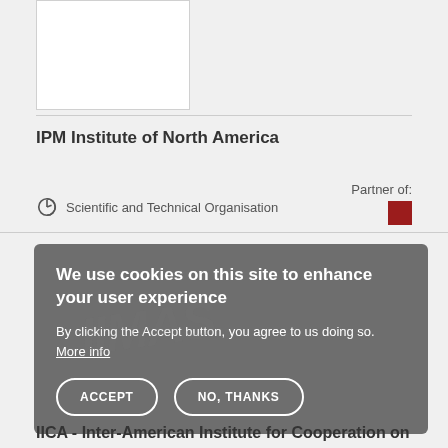[Figure (other): White image box placeholder for IPM Institute of North America logo]
IPM Institute of North America
Scientific and Technical Organisation
Partner of:
[Figure (other): Small dark red square logo representing a partner organization]
We use cookies on this site to enhance your user experience
By clicking the Accept button, you agree to us doing so. More info
ACCEPT
NO, THANKS
IICA - Inter-American Institute for Cooperation on